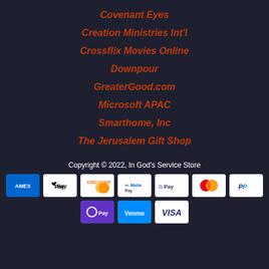Covenant Eyes
Creation Ministries Int'l
Crossflix Movies Online
Downpour
GreaterGood.com
Microsoft APAC
Smarthome, Inc
The Jerusalem Gift Shop
Copyright © 2022, In God's Service Store
[Figure (other): Payment method icons: American Express, Apple Pay, Discover, Meta Pay, Google Pay, Mastercard, PayPal, OPay, Venmo, Visa]